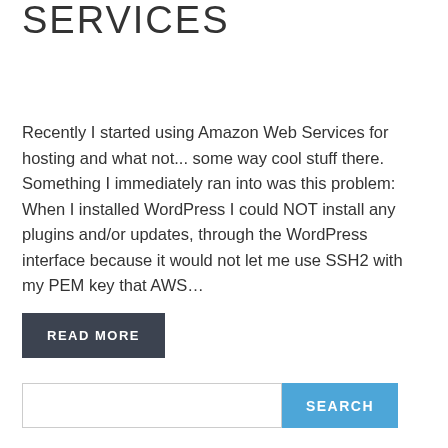SERVICES
Recently I started using Amazon Web Services for hosting and what not... some way cool stuff there.  Something I immediately ran into was this problem: When I installed WordPress I could NOT install any plugins and/or updates, through the WordPress interface because it would not let me use SSH2 with my PEM key that AWS…
READ MORE
SEARCH